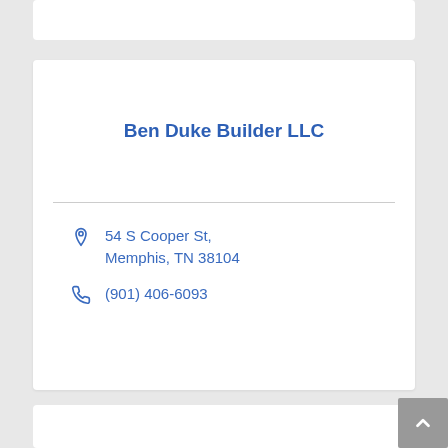Ben Duke Builder LLC
54 S Cooper St, Memphis, TN 38104
(901) 406-6093